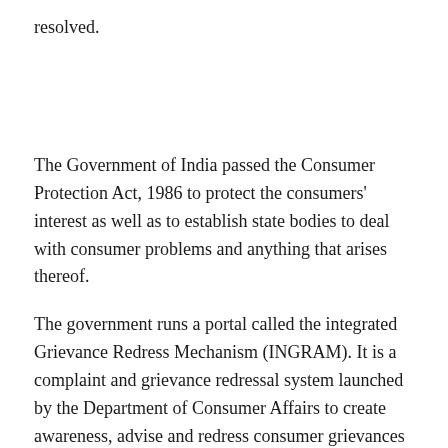resolved.
The Government of India passed the Consumer Protection Act, 1986 to protect the consumers' interest as well as to establish state bodies to deal with consumer problems and anything that arises thereof.
The government runs a portal called the integrated Grievance Redress Mechanism (INGRAM). It is a complaint and grievance redressal system launched by the Department of Consumer Affairs to create awareness, advise and redress consumer grievances and act as a central registry for lodging consumer grievances.